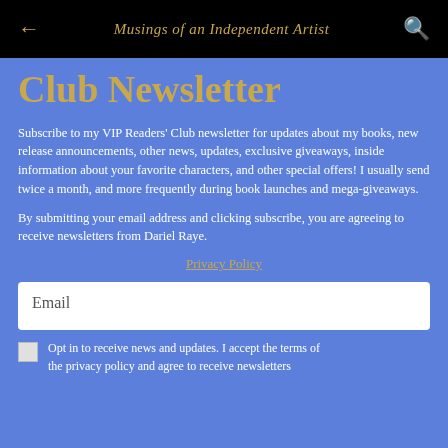← Musings of an Independent Artist 🔍
Club Newsletter
Subscribe to my VIP Readers' Club newsletter for updates about my books, new release announcements, other news, updates, exclusive giveaways, inside information about your favorite characters, and other special offers! I usually send twice a month, and more frequently during book launches and mega-giveaways.
By submitting your email address and clicking subscribe, you are agreeing to receive newsletters from Dariel Raye.
Privacy Policy
Email
Opt in to receive news and updates. I accept the terms of the privacy policy and agree to receive newsletters